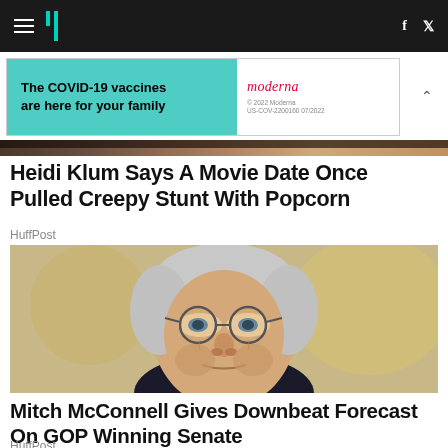HuffPost navigation bar with hamburger menu, logo, facebook and twitter icons
[Figure (other): Moderna COVID-19 vaccine advertisement banner: 'The COVID-19 vaccines are here for your family' with teal/mint left panel and Moderna logo on white right panel]
[Figure (photo): Partial image of a scene with warm brown tones at top of page]
Heidi Klum Says A Movie Date Once Pulled Creepy Stunt With Popcorn
HuffPost
[Figure (photo): Close-up portrait photo of Mitch McConnell wearing round glasses, gray hair, looking upward with a downward expression, blurred golden background]
Mitch McConnell Gives Downbeat Forecast On GOP Winning Senate
HuffPost